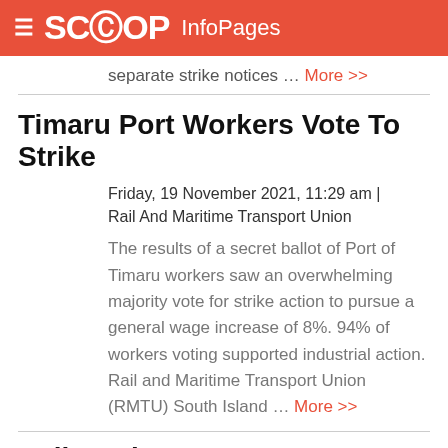SCOOP InfoPages
separate strike notices … More >>
Timaru Port Workers Vote To Strike
Friday, 19 November 2021, 11:29 am | Rail And Maritime Transport Union
The results of a secret ballot of Port of Timaru workers saw an overwhelming majority vote for strike action to pursue a general wage increase of 8%. 94% of workers voting supported industrial action. Rail and Maritime Transport Union (RMTU) South Island … More >>
Rail Workers Vote For Nationwide Strike And Stoppage